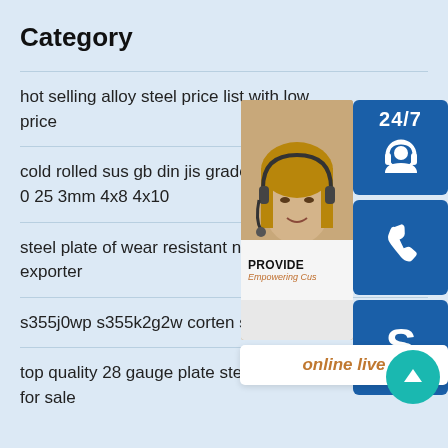Category
hot selling alloy steel price list with low price
cold rolled sus gb din jis grade 4 0 25 3mm 4x8 4x10
steel plate of wear resistant nm4 exporter
s355j0wp s355k2g2w corten sheet
top quality 28 gauge plate steel grain silo for sale
[Figure (infographic): Customer support overlay with 24/7 label, headset icon, phone icon, Skype icon, support agent photo, PROVIDE Empowering Customers text, online live button, and scroll-to-top button]